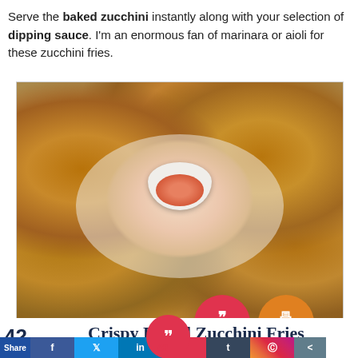Serve the baked zucchini instantly along with your selection of dipping sauce. I'm an enormous fan of marinara or aioli for these zucchini fries.
[Figure (photo): Crispy baked zucchini fries arranged in a circular pattern on a white plate with a small bowl of orange dipping sauce in the center. Overlay shows Pin and Print buttons.]
Crispy Baked Zucchini Fries
42 Share [Facebook] [Twitter] [LinkedIn] [Pinterest 42] [Tumblr] [Instagram] [Share]